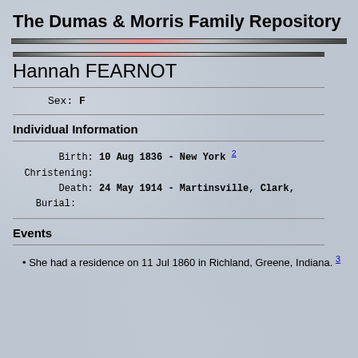The Dumas & Morris Family Repository
Hannah FEARNOT
Sex: F
Individual Information
Birth: 10 Aug 1836 - New York 2
Christening:
Death: 24 May 1914 - Martinsville, Clark,
Burial:
Events
She had a residence on 11 Jul 1860 in Richland, Greene, Indiana. 3